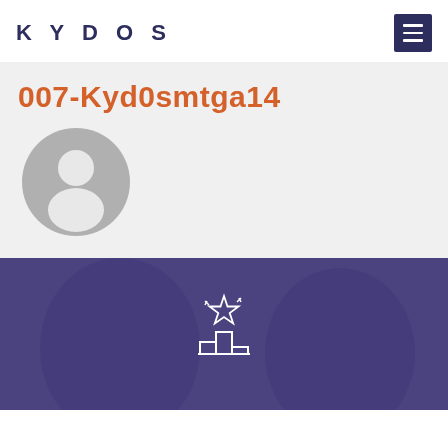KYDOS
007-Kyd0smtga14
[Figure (illustration): Default user avatar: circular grey background with white silhouette of a person (head and shoulders)]
[Figure (photo): Banner image showing two people smiling, overlaid with a dark purple/blue tint, with a white outline trophy/podium icon with a star in the center]